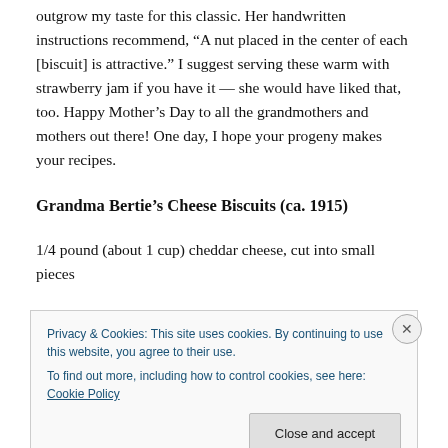outgrow my taste for this classic. Her handwritten instructions recommend, “A nut placed in the center of each [biscuit] is attractive.” I suggest serving these warm with strawberry jam if you have it — she would have liked that, too. Happy Mother’s Day to all the grandmothers and mothers out there! One day, I hope your progeny makes your recipes.
Grandma Bertie’s Cheese Biscuits (ca. 1915)
1/4 pound (about 1 cup) cheddar cheese, cut into small pieces
Privacy & Cookies: This site uses cookies. By continuing to use this website, you agree to their use.
To find out more, including how to control cookies, see here: Cookie Policy
Close and accept